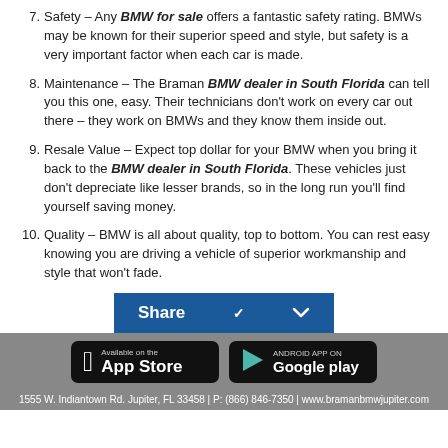7. Safety – Any BMW for sale offers a fantastic safety rating. BMWs may be known for their superior speed and style, but safety is a very important factor when each car is made.
8. Maintenance – The Braman BMW dealer in South Florida can tell you this one, easy. Their technicians don't work on every car out there – they work on BMWs and they know them inside out.
9. Resale Value – Expect top dollar for your BMW when you bring it back to the BMW dealer in South Florida. These vehicles just don't depreciate like lesser brands, so in the long run you'll find yourself saving money.
10. Quality – BMW is all about quality, top to bottom. You can rest easy knowing you are driving a vehicle of superior workmanship and style that won't fade.
[Figure (other): Share button with blue background and chevron icon]
[Figure (other): App Store and Google Play download buttons on gray background]
1555 W. Indiantown Rd. Jupiter, FL 33458 | P: (866) 846-7350 | www.bramanbmwjupiter.com